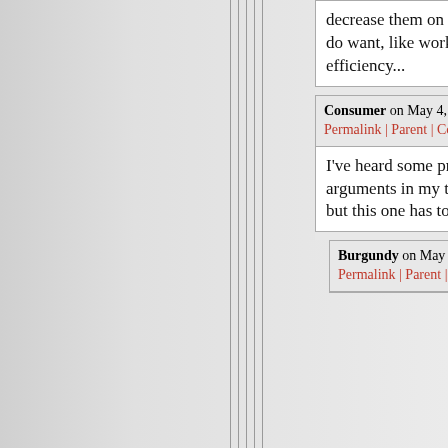decrease them on other things that we do want, like work, insulation, efficiency...
Consumer on May 4, 2010 - 1:30pm Permalink | Parent | Comments top
I've heard some pretty ridiculous arguments in my time on the oil drum, but this one has to top them all.
Burgundy on May 4, 2010 - 4:57pm Permalink | Parent | Comments top